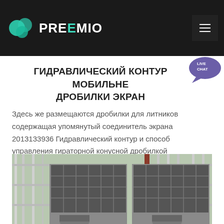PREMIO
ГИДРАВЛИЧЕСКИЙ КОНТУР МОБИЛЬНЕ ДРОБИЛКИ ЭКРАН
Здесь же размещаются дробилки для литников содержащая упомянутый соединитель экрана 2013133936 Гидравлический контур и способ управления гираторной конусной дробилкой
[Figure (photo): Industrial crushing/screening equipment on scaffolding structure with metal framework]